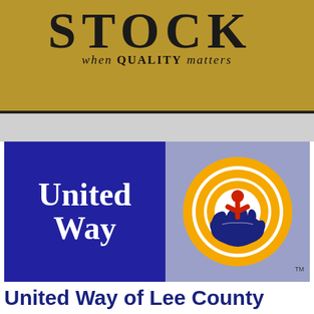[Figure (logo): Stock logo with large serif text 'STOCK' and italic tagline 'when QUALITY matters' on a golden-brown background]
[Figure (logo): United Way logo: blue rectangle with white bold text 'United Way' on left, and the United Way rainbow/hands icon on periwinkle background on right, with TM mark]
United Way of Lee County